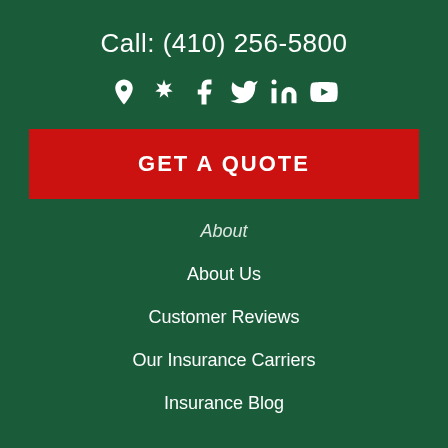Call: (410) 256-5800
[Figure (infographic): Social media icons: location pin, Yelp, Facebook, Twitter, LinkedIn, YouTube]
GET A QUOTE
About
About Us
Customer Reviews
Our Insurance Carriers
Insurance Blog